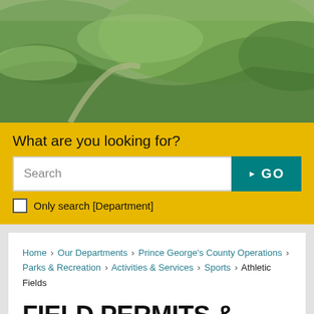[Figure (photo): Aerial or ground-level view of green grass fields/park terrain with pathways, used as a hero banner image for a Parks & Recreation athletic fields page.]
What are you looking for?
Search
GO
Only search [Department]
Home › Our Departments › Prince George's County Operations › Parks & Recreation › Activities & Services › Sports › Athletic Fields
FIELD PERMITS & USAGE